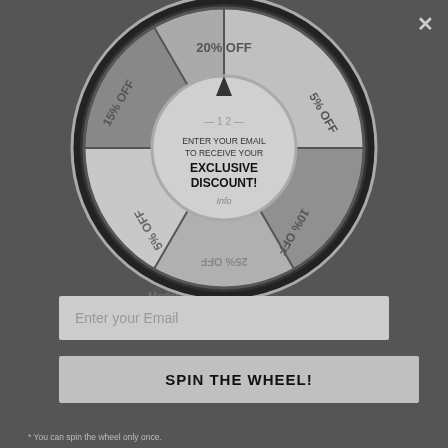[Figure (other): Spin the wheel popup overlay with a circular prize wheel showing segments labeled 20% OFF, 5% OFF, 10% OFF, 5% OFF, 15% OFF. Center shows text: ENTER YOUR EMAIL TO RECEIVE YOUR EXCLUSIVE DISCOUNT!]
Enter your Email TO RECEIVE YOUR EXCLUSIVE DISCOUNT! — 1 2 counter — Info
Enter your Email
SPIN THE WHEEL!
* You can spin the wheel only once.